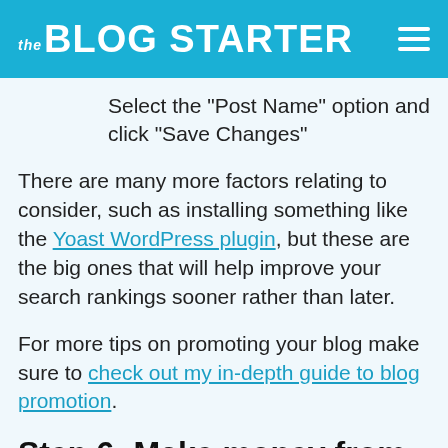the BLOG STARTER
Select the “Post Name” option and click “Save Changes”
There are many more factors relating to consider, such as installing something like the Yoast WordPress plugin, but these are the big ones that will help improve your search rankings sooner rather than later.
For more tips on promoting your blog make sure to check out my in-depth guide to blog promotion.
Step 6: Make money from